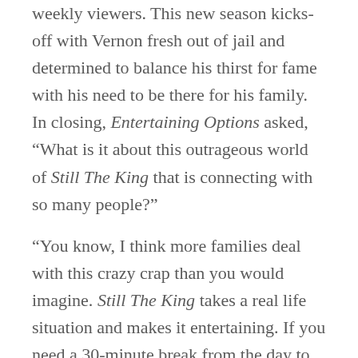weekly viewers. This new season kicks-off with Vernon fresh out of jail and determined to balance his thirst for fame with his need to be there for his family. In closing, Entertaining Options asked, "What is it about this outrageous world of Still The King that is connecting with so many people?"
"You know, I think more families deal with this crazy crap than you would imagine. Still The King takes a real life situation and makes it entertaining. If you need a 30-minute break from the day to just sit back and watch some funny southern humor and have a laugh about what people go through, then this is the show for you."
The new season of CMT's Still The King kicks off on Tuesday, July 11 with back-to-back episodes beginning